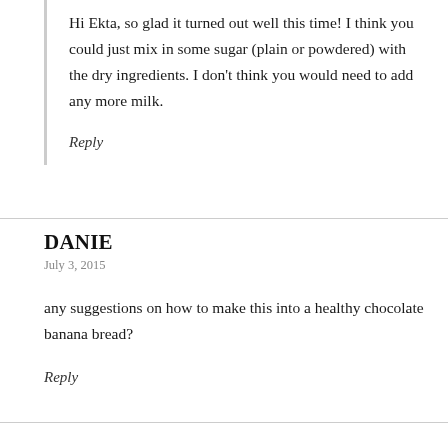Hi Ekta, so glad it turned out well this time! I think you could just mix in some sugar (plain or powdered) with the dry ingredients. I don't think you would need to add any more milk.
Reply
DANIE
July 3, 2015
any suggestions on how to make this into a healthy chocolate banana bread?
Reply